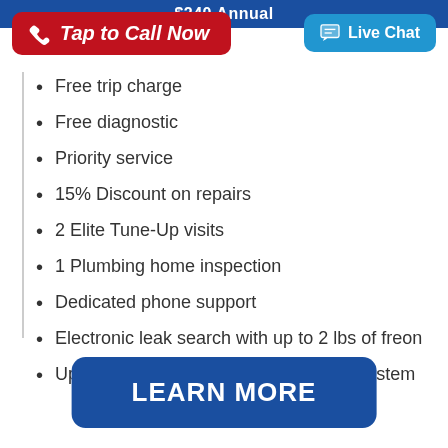$240 Annual
Tap to Call Now
Live Chat
Free trip charge
Free diagnostic
Priority service
15% Discount on repairs
2 Elite Tune-Up visits
1 Plumbing home inspection
Dedicated phone support
Electronic leak search with up to 2 lbs of freon
Up to $1500* credit on a replacement system
LEARN MORE